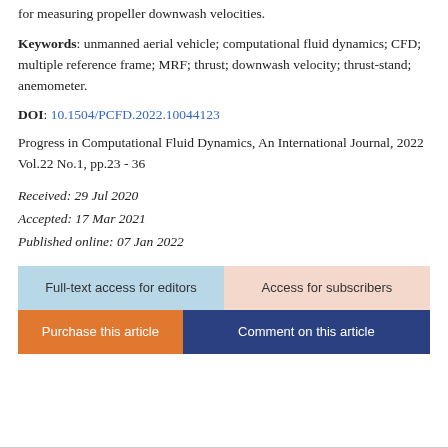for measuring propeller downwash velocities.
Keywords: unmanned aerial vehicle; computational fluid dynamics; CFD; multiple reference frame; MRF; thrust; downwash velocity; thrust-stand; anemometer.
DOI: 10.1504/PCFD.2022.10044123
Progress in Computational Fluid Dynamics, An International Journal, 2022 Vol.22 No.1, pp.23 - 36
Received: 29 Jul 2020
Accepted: 17 Mar 2021
Published online: 07 Jan 2022
[Figure (other): Four action buttons: Full-text access for editors (light blue), Access for subscribers (peach), Purchase this article (orange), Comment on this article (navy)]